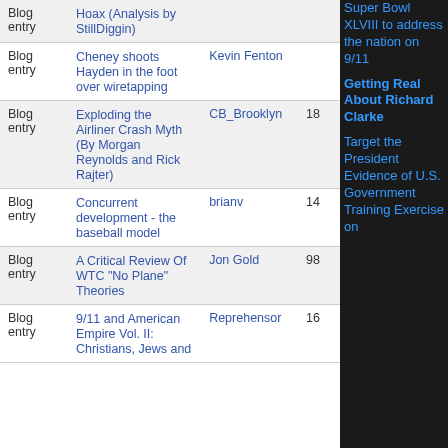| Type | Title | Author | Comments |
| --- | --- | --- | --- |
| Blog entry | Hoax (Analysis by StillDiggin) |  |  |
| Blog entry | Cheney shoots Hayden in the foot over wiretapping | Kevin Fenton |  |
| Blog entry | Exploding the Airliner Crash Myth (By Morgan Reynolds and Rick Rajter) | CB_Brooklyn | 18 |
| Blog entry | Concurrent development - the baseball model | brianv | 14 |
| Blog entry | A Critical Review Of WTC "No Plane" Theories | Jon Gold | 98 |
| Blog entry | 9/11 and American Empire Vol. II: Christians, Jews and | Reprehensor | 16 |
Super Bowl XLVIII to address the nation on 9/11
Getting Real About Richard Clarke
Target the President Evidence of U.S. Government Training Exercise on